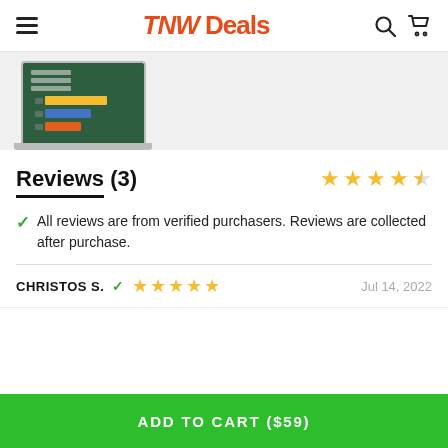TNW Deals
[Figure (screenshot): Laptop mockup showing a bar chart dashboard on a dark green background]
Reviews (3)
All reviews are from verified purchasers. Reviews are collected after purchase.
CHRISTOS S. ✓   ★★★★★   Jul 14, 2022
ADD TO CART ($59)